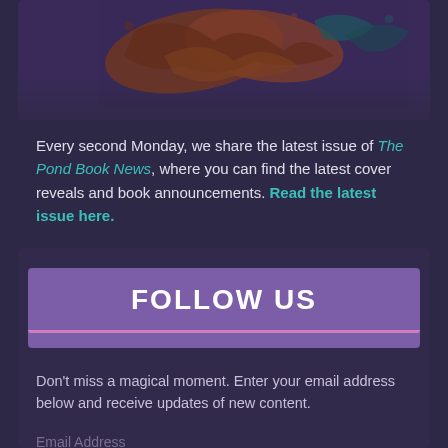[Figure (illustration): Decorative illustration with brown and dark teal splatter/leaf shapes on dark purple background]
Every second Monday, we share the latest issue of The Pond Book News, where you can find the latest cover reveals and book announcements. Read the latest issue here.
FOLLOW US
Don't miss a magical moment. Enter your email address below and receive updates of new content.
Email Address
FOLLOW